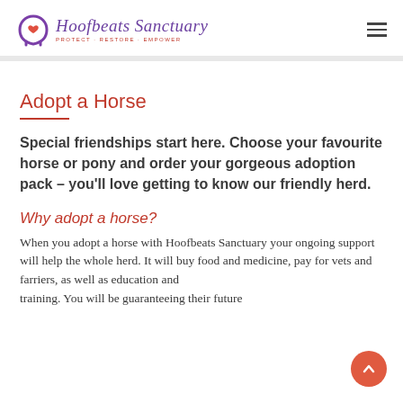Hoofbeats Sanctuary — PROTECT · RESTORE · EMPOWER
Adopt a Horse
Special friendships start here. Choose your favourite horse or pony and order your gorgeous adoption pack – you'll love getting to know our friendly herd.
Why adopt a horse?
When you adopt a horse with Hoofbeats Sanctuary your ongoing support will help the whole herd. It will buy food and medicine, pay for vets and farriers, as well as education and training. You will be guaranteeing their future